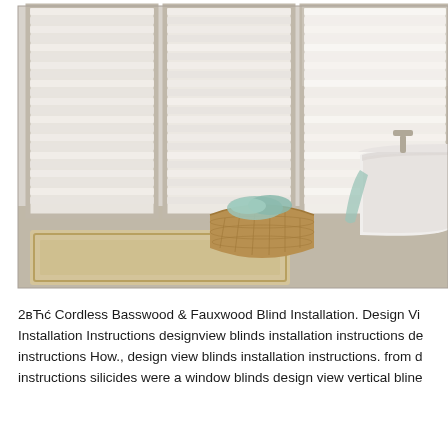[Figure (photo): Bathroom interior with white venetian blinds on three large windows, a wicker basket with folded teal towels on the floor, a clawfoot bathtub partially visible on the right, and a beige area rug on tile flooring.]
2вЋĵ Cordless Basswood & Fauxwood Blind Installation. Design Vi Installation Instructions designview blinds installation instructions de instructions How., design view blinds installation instructions. from instructions silicides were a window blinds design view vertical blin